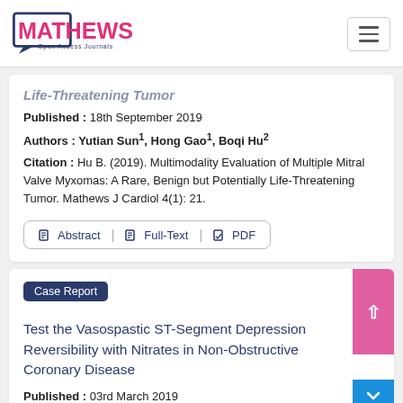Mathews Open Access Journals
Life-Threatening Tumor
Published : 18th September 2019
Authors : Yutian Sun1, Hong Gao1, Boqi Hu2
Citation : Hu B. (2019). Multimodality Evaluation of Multiple Mitral Valve Myxomas: A Rare, Benign but Potentially Life-Threatening Tumor. Mathews J Cardiol 4(1): 21.
Abstract | Full-Text | PDF
Case Report
Test the Vasospastic ST-Segment Depression Reversibility with Nitrates in Non-Obstructive Coronary Disease
Published : 03rd March 2019